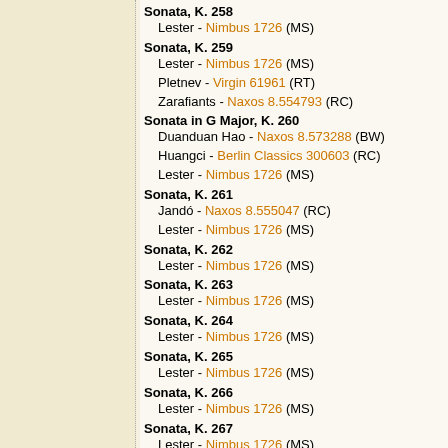Sonata, K. 258
  Lester - Nimbus 1726 (MS)
Sonata, K. 259
  Lester - Nimbus 1726 (MS)
  Pletnev - Virgin 61961 (RT)
  Zarafiants - Naxos 8.554793 (RC)
Sonata in G Major, K. 260
  Duanduan Hao - Naxos 8.573288 (BW)
  Huangci - Berlin Classics 300603 (RC)
  Lester - Nimbus 1726 (MS)
Sonata, K. 261
  Jandó - Naxos 8.555047 (RC)
  Lester - Nimbus 1726 (MS)
Sonata, K. 262
  Lester - Nimbus 1726 (MS)
Sonata, K. 263
  Lester - Nimbus 1726 (MS)
Sonata, K. 264
  Lester - Nimbus 1726 (MS)
Sonata, K. 265
  Lester - Nimbus 1726 (MS)
Sonata, K. 266
  Lester - Nimbus 1726 (MS)
Sonata, K. 267
  Lester - Nimbus 1726 (MS)
Sonata, K. 268
  Lester - Nimbus 1726 (MS)
  Pletnev - Virgin 61961 (RT)
Sonata, K. 269
  Duanduan Hao
    Naxos 8.573288 (BW)
    Naxos 8.573288 (RC)
  Lester - Nimbus 1726 (MS)
Sonata, K. 270
  Lester - Nimbus 1726 (MS)
Sonata, K. 271
  Lester - Nimbus 1726 (MS)
Sonata, K. 272